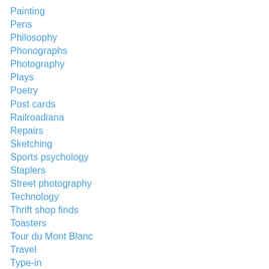Painting
Pens
Philosophy
Phonographs
Photography
Plays
Poetry
Post cards
Railroadiana
Repairs
Sketching
Sports psychology
Staplers
Street photography
Technology
Thrift shop finds
Toasters
Tour du Mont Blanc
Travel
Type-in